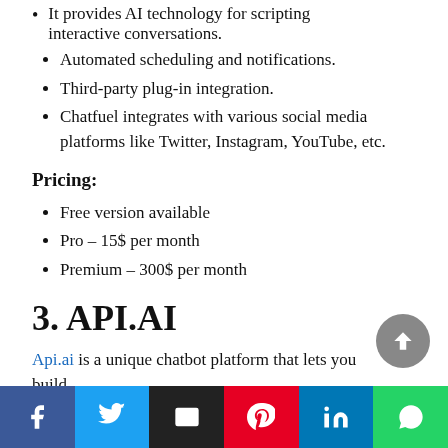It provides AI technology for scripting interactive conversations.
Automated scheduling and notifications.
Third-party plug-in integration.
Chatfuel integrates with various social media platforms like Twitter, Instagram, YouTube, etc.
Pricing:
Free version available
Pro – 15$ per month
Premium – 300$ per month
3. API.AI
Api.ai is a unique chatbot platform that lets you build...
[Figure (other): Social sharing bar with Facebook, Twitter, Email, Pinterest, LinkedIn, WhatsApp buttons]